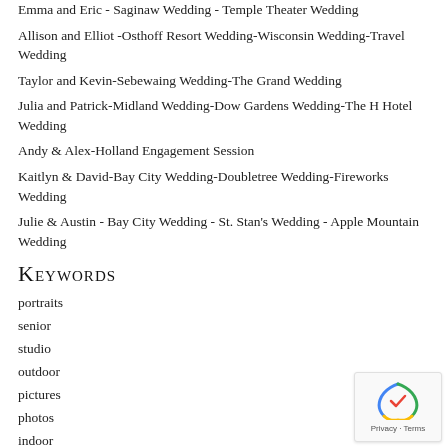Emma and Eric - Saginaw Wedding - Temple Theater Wedding
Allison and Elliot -Osthoff Resort Wedding-Wisconsin Wedding-Travel Wedding
Taylor and Kevin-Sebewaing Wedding-The Grand Wedding
Julia and Patrick-Midland Wedding-Dow Gardens Wedding-The H Hotel Wedding
Andy & Alex-Holland Engagement Session
Kaitlyn & David-Bay City Wedding-Doubletree Wedding-Fireworks Wedding
Julie & Austin - Bay City Wedding - St. Stan's Wedding - Apple Mountain Wedding
Keywords
portraits
senior
studio
outdoor
pictures
photos
indoor
children